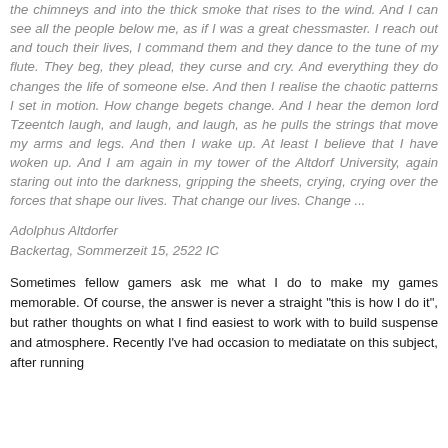the chimneys and into the thick smoke that rises to the wind. And I can see all the people below me, as if I was a great chessmaster. I reach out and touch their lives, I command them and they dance to the tune of my flute. They beg, they plead, they curse and cry. And everything they do changes the life of someone else. And then I realise the chaotic patterns I set in motion. How change begets change. And I hear the demon lord Tzeentch laugh, and laugh, and laugh, as he pulls the strings that move my arms and legs. And then I wake up. At least I believe that I have woken up. And I am again in my tower of the Altdorf University, again staring out into the darkness, gripping the sheets, crying, crying over the forces that shape our lives. That change our lives. Change ...
Adolphus Altdorfer
Backertag, Sommerzeit 15, 2522 IC
Sometimes fellow gamers ask me what I do to make my games memorable. Of course, the answer is never a straight "this is how I do it", but rather thoughts on what I find easiest to work with to build suspense and atmosphere. Recently I've had occasion to mediatate on this subject, after running